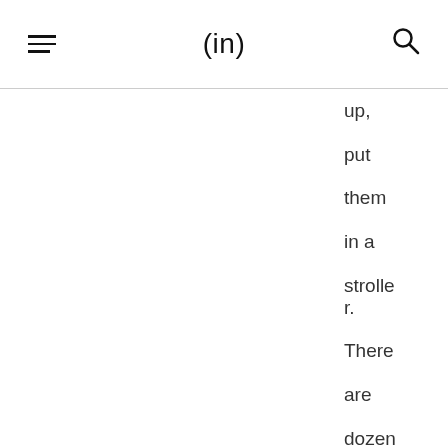(in)
up, put them in a stroller. There are dozens of ways to keep your kids